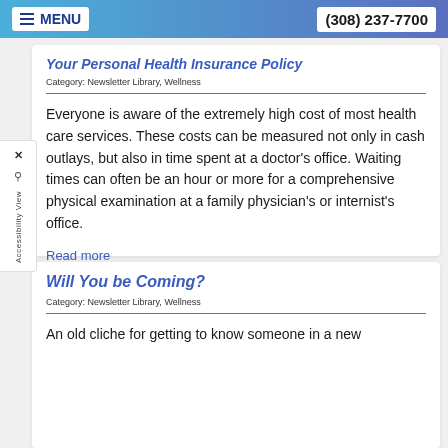MENU  (308) 237-7700
Your Personal Health Insurance Policy
Category: Newsletter Library, Wellness
Everyone is aware of the extremely high cost of most health care services. These costs can be measured not only in cash outlays, but also in time spent at a doctor's office. Waiting times can often be an hour or more for a comprehensive physical examination at a family physician's or internist's office.
Read more
Will You be Coming?
Category: Newsletter Library, Wellness
An old cliche for getting to know someone in a new